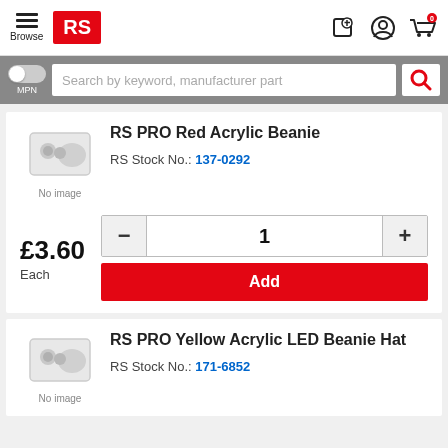[Figure (screenshot): RS Components e-commerce website header with hamburger menu, RS logo, browse text, and icons for location/favorites, account, and shopping cart with 0 items]
[Figure (screenshot): Search bar with MPN toggle switch and search input placeholder 'Search by keyword, manufacturer part' with red search icon button]
[Figure (photo): Product listing card for RS PRO Red Acrylic Beanie showing no image placeholder, RS Stock No. 137-0292, price £3.60 Each, quantity selector showing 1, and Add button]
[Figure (photo): Partial product listing card for RS PRO Yellow Acrylic LED Beanie Hat showing no image placeholder and RS Stock No. 171-6852]